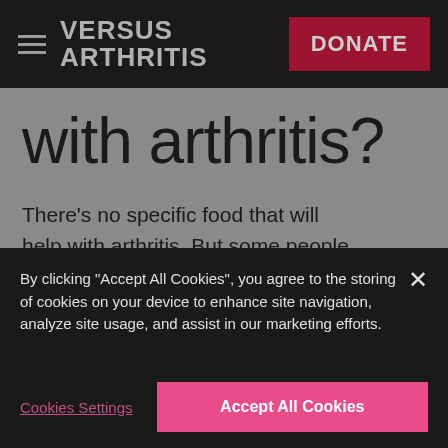VERSUS ARTHRITIS | DONATE
with arthritis?
There's no specific food that will help with arthritis. But some people feel that certain foods help reduce their symptoms.
By clicking "Accept All Cookies", you agree to the storing of cookies on your device to enhance site navigation, analyze site usage, and assist in our marketing efforts.
Cookies Settings
Accept All Cookies